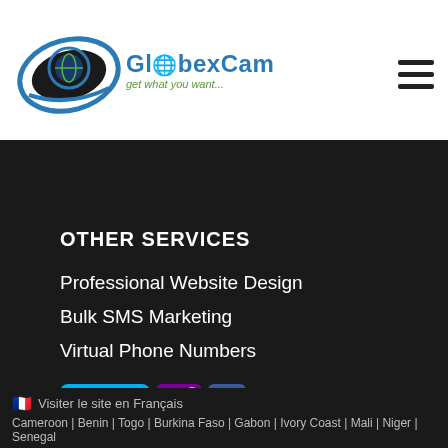GlobexCam - get what you want...
OTHER SERVICES
Professional Website Design
Bulk SMS Marketing
Virtual Phone Numbers
[Figure (logo): Social media icons: Skype, Yahoo, Facebook]
Visiter le site en Français | Cameroon | Benin | Togo | Burkina Faso | Gabon | Ivory Coast | Mali | Niger | Senegal